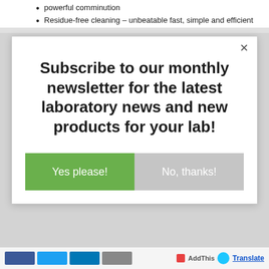powerful comminution
Residue-free cleaning – unbeatable fast, simple and efficient
Subscribe to our monthly newsletter for the latest laboratory news and new products for your lab!
Yes please!
No, thanks!
AddThis  Translate